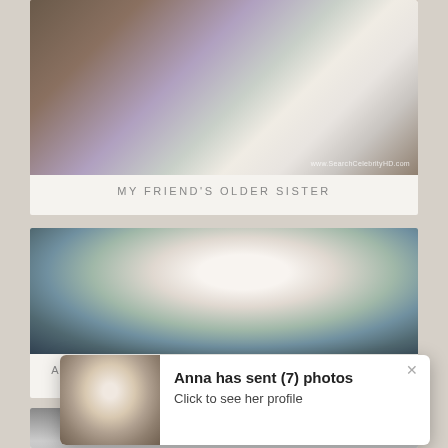[Figure (photo): Screenshot of a video thumbnail showing a medical/hospital scene with people in the background and a watermark 'www.SearchCelebrityHD.com']
MY FRIEND'S OLDER SISTER
[Figure (photo): Screenshot of a video thumbnail showing a young woman in a striped white sweater with a bag strap, smiling, in a modern interior setting]
ACTIONS MOVIES 2016 – ROMANTIC MOVIES – KOREAN
[Figure (photo): Partially visible thumbnail of another video at the bottom of the page]
Anna has sent (7) photos
Click to see her profile